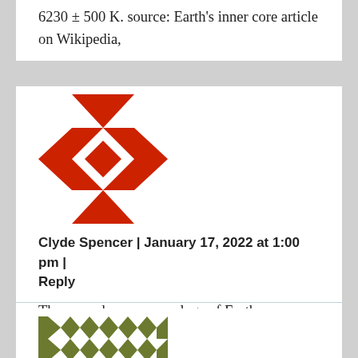6230 ± 500 K. source: Earth's inner core article on Wikipedia,
[Figure (logo): Red geometric avatar icon with cross/star pattern]
Clyde Spencer | January 17, 2022 at 1:00 pm | Reply
There are, however, analogs of Earth core material in the form of metallic meteorites.
[Figure (logo): Olive/green geometric avatar icon with star/cross pattern]